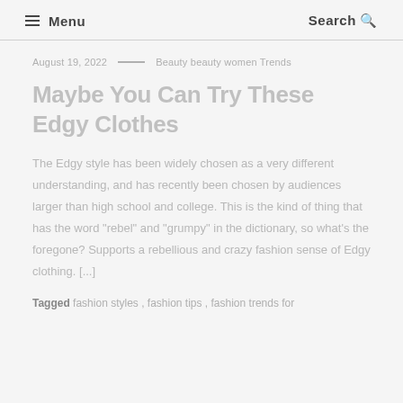☰ Menu   Search 🔍
August 19, 2022 — Beauty beauty women Trends
Maybe You Can Try These Edgy Clothes
The Edgy style has been widely chosen as a very different understanding, and has recently been chosen by audiences larger than high school and college. This is the kind of thing that has the word "rebel" and "grumpy" in the dictionary, so what's the foregone? Supports a rebellious and crazy fashion sense of Edgy clothing. [...]
Tagged: fashion styles , fashion tips , fashion trends for